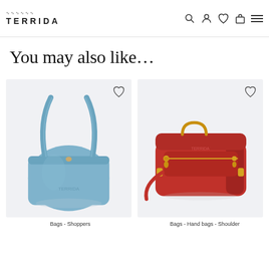TERRIDA — navigation bar with logo and icons
bags that have always had a particular importance. Secondly, briefcases and each bag type for everyday life. Last here is the sports collection, focused on golf and tennis.
You may also like…
[Figure (photo): Light blue leather tote shopping bag (shopper) on white/light grey background]
Bags - Shoppers
[Figure (photo): Red leather shoulder / hand bag with zipper and gold hardware on light grey background]
Bags - Hand bags - Shoulder